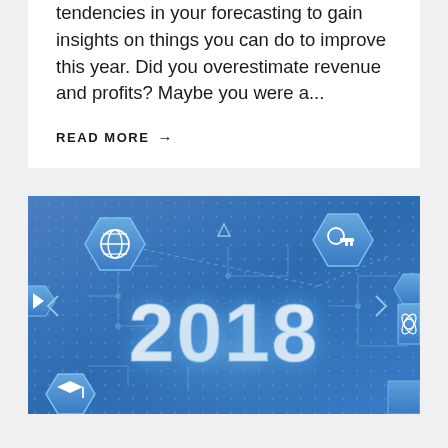tendencies in your forecasting to gain insights on things you can do to improve this year. Did you overestimate revenue and profits? Maybe you were a...
READ MORE →
[Figure (illustration): Blue technology/digital themed banner with hexagon icons (globe, key, atom, education symbols), circuit board patterns, triangular arrows, and large white '2018' text in the center on a blue gradient background.]